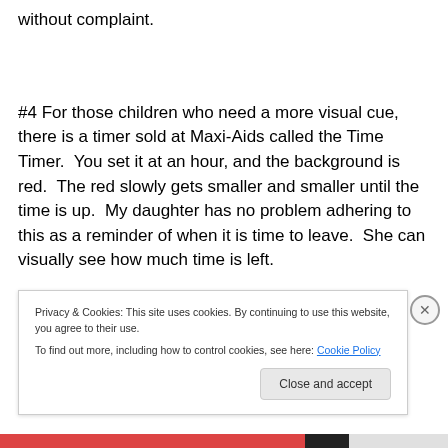without complaint.
#4 For those children who need a more visual cue, there is a timer sold at Maxi-Aids called the Time Timer.  You set it at an hour, and the background is red.  The red slowly gets smaller and smaller until the time is up.  My daughter has no problem adhering to this as a reminder of when it is time to leave.  She can visually see how much time is left.
Privacy & Cookies: This site uses cookies. By continuing to use this website, you agree to their use.
To find out more, including how to control cookies, see here: Cookie Policy